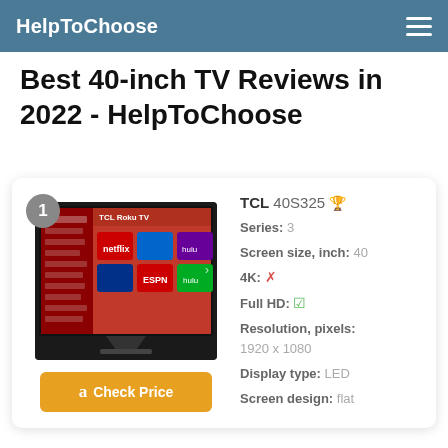HelpToChoose
Best 40-inch TV Reviews in 2022 - HelpToChoose
[Figure (photo): TCL Roku TV product photo showing a 40-inch TV with the Roku smart TV interface displayed on screen, including Netflix, ESPN, Hulu and other apps]
TCL 40S325 🏆
Series: 3
Screen size, inch: 40
4K: ✗
Full HD: ✓
Resolution, pixels: 1920 x 1080
Display type: LED
Screen design: flat